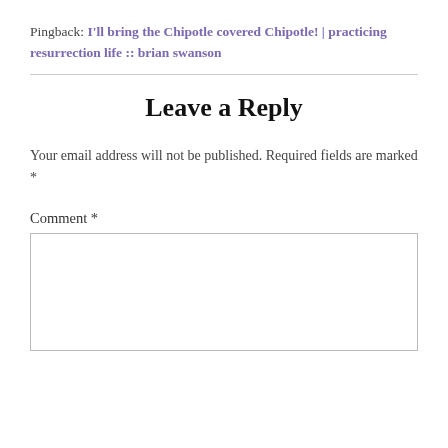Pingback: I'll bring the Chipotle covered Chipotle! | practicing resurrection life :: brian swanson
Leave a Reply
Your email address will not be published. Required fields are marked *
Comment *